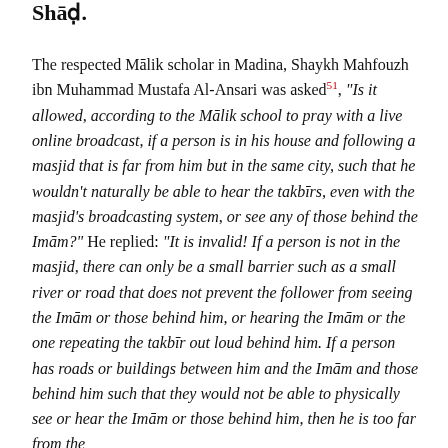Shāḍ.
The respected Mālik scholar in Madina, Shaykh Mahfouzh ibn Muhammad Mustafa Al-Ansari was asked51, "Is it allowed, according to the Mālik school to pray with a live online broadcast, if a person is in his house and following a masjid that is far from him but in the same city, such that he wouldn't naturally be able to hear the takbīrs, even with the masjid's broadcasting system, or see any of those behind the Imām?" He replied: "It is invalid! If a person is not in the masjid, there can only be a small barrier such as a small river or road that does not prevent the follower from seeing the Imām or those behind him, or hearing the Imām or the one repeating the takbīr out loud behind him. If a person has roads or buildings between him and the Imām and those behind him such that they would not be able to physically see or hear the Imām or those behind him, then he is too far from the